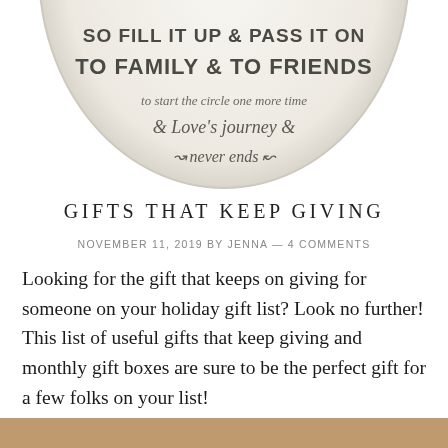[Figure (photo): A round decorative plate/dish with text that reads: 'SO FILL IT UP & PASS IT ON TO FAMILY & TO FRIENDS to start the circle one more time & Love's journey never ends' — shown cropped at the top of the page]
GIFTS THAT KEEP GIVING
NOVEMBER 11, 2019 BY JENNA — 4 COMMENTS
Looking for the gift that keeps on giving for someone on your holiday gift list? Look no further! This list of useful gifts that keep giving and monthly gift boxes are sure to be the perfect gift for a few folks on your list!
[Figure (photo): Bottom portion of another image, partially visible at the bottom edge of the page]